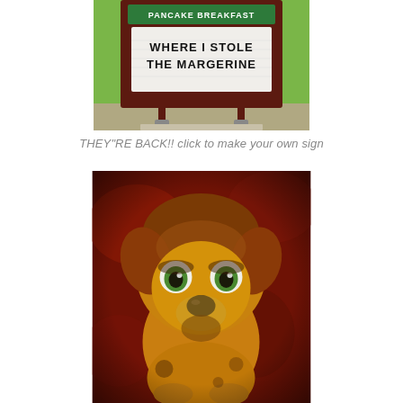[Figure (photo): A church or restaurant marquee sign with a green header banner partially visible at top reading 'PANCAKE BREAKFAST' and a white changeable letter board below reading 'WHERE I STOLE THE MARGERINE'. The sign is mounted on a dark reddish-brown metal frame with a concrete base, set on a grassy lawn.]
THEY"RE BACK!! click to make your own sign
[Figure (illustration): A digitally manipulated or illustrated image of a sad-looking puppy/dog with large green eyes and an orange-red color palette, rendered in a painterly or posterized style against a dark red background. The dog has an expressive, melancholy look.]